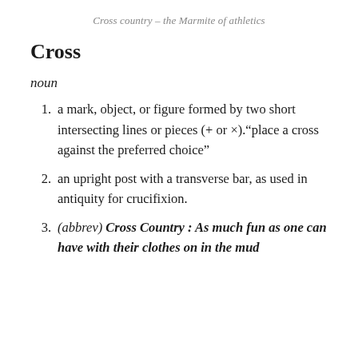Cross country – the Marmite of athletics
Cross
noun
1. a mark, object, or figure formed by two short intersecting lines or pieces (+ or ×).“place a cross against the preferred choice”
2. an upright post with a transverse bar, as used in antiquity for crucifixion.
3. (abbrev) Cross Country : As much fun as one can have with their clothes on in the mud